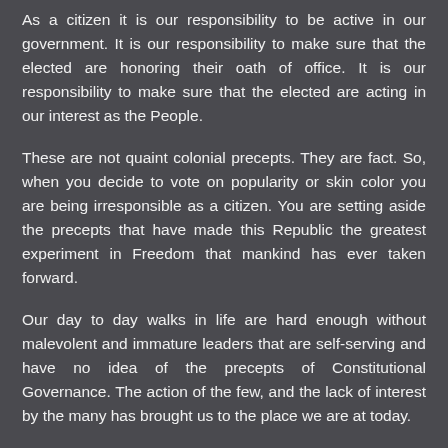As a citizen it is our responsibility to be active in our government. It is our responsibility to make sure that the elected are honoring their oath of office. It is our responsibility to make sure that the elected are acting in our interest as the People.
These are not quaint colonial precepts. They are fact. So, when you decide to vote on popularity or skin color you are being irresponsible as a citizen. You are setting aside the precepts that have made this Republic the greatest experiment in Freedom that mankind has ever taken forward.
Our day to day walks in life are hard enough without malevolent and immature leaders that are self-serving and have no idea of the precepts of Constitutional Governance. The action of the few, and the lack of interest by the many has brought us to the place we are at today.